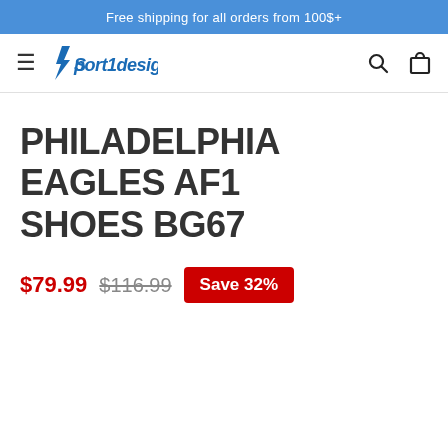Free shipping for all orders from 100$+
[Figure (logo): Sport1design logo with lightning bolt icon and italic text]
PHILADELPHIA EAGLES AF1 SHOES BG67
$79.99  $116.99  Save 32%